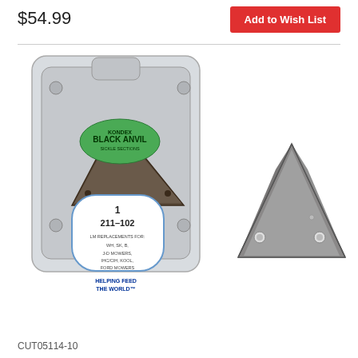$54.99
Add to Wish List
[Figure (photo): Kondex Black Anvil Sickle Sections product image showing packaged product (model 211-102) and a single triangular metal sickle blade section with two holes]
CUT05114-10